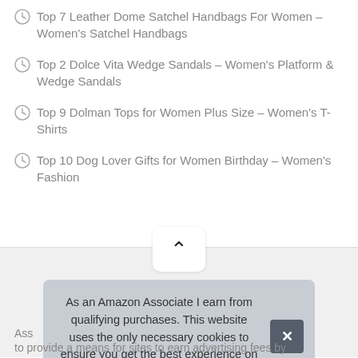Top 7 Leather Dome Satchel Handbags For Women – Women's Satchel Handbags
Top 2 Dolce Vita Wedge Sandals – Women's Platform & Wedge Sandals
Top 9 Dolman Tops for Women Plus Size – Women's T-Shirts
Top 10 Dog Lover Gifts for Women Birthday – Women's Fashion
[Figure (other): Up/back-to-top button with chevron icon on gray background]
As an Amazon Associate I earn from qualifying purchases. This website uses the only necessary cookies to ensure you get the best experience on our website. More information
Ass
to provide a means for sites to earn advertising fees by